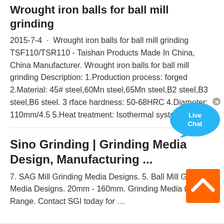Wrought iron balls for ball mill grinding
2015-7-4 · Wrought iron balls for ball mill grinding TSF110/TSR110 - Taishan Products Made In China, China Manufacturer. Wrought iron balls for ball mill grinding Description: 1.Production process: forged 2.Material: 45# steel,60Mn steel,65Mn steel,B2 steel,B3 steel,B6 steel. 3 rface hardness: 50-68HRC 4.Diameter: 110mm/4.5 5.Heat treatment: Isothermal system …
Sino Grinding | Grinding Media Design, Manufacturing ...
7. SAG Mill Grinding Media Designs. 5. Ball Mill Grinding Media Designs. 20mm - 160mm. Grinding Media Ø Size Range. Contact SGI today for …